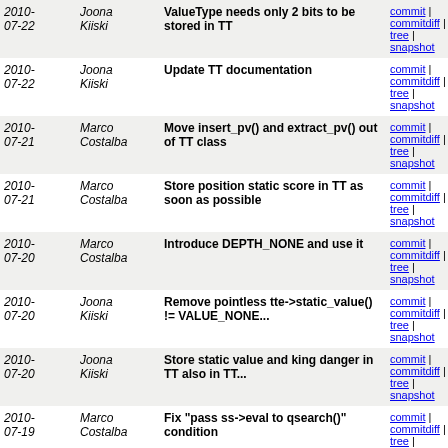| Date | Author | Commit message | Links |
| --- | --- | --- | --- |
| 2010-07-22 | Joona Kiiski | ValueType needs only 2 bits to be stored in TT | commit | commitdiff | tree | snapshot |
| 2010-07-22 | Joona Kiiski | Update TT documentation | commit | commitdiff | tree | snapshot |
| 2010-07-21 | Marco Costalba | Move insert_pv() and extract_pv() out of TT class | commit | commitdiff | tree | snapshot |
| 2010-07-21 | Marco Costalba | Store position static score in TT as soon as possible | commit | commitdiff | tree | snapshot |
| 2010-07-20 | Marco Costalba | Introduce DEPTH_NONE and use it | commit | commitdiff | tree | snapshot |
| 2010-07-20 | Joona Kiiski | Remove pointless tte->static_value() != VALUE_NONE... | commit | commitdiff | tree | snapshot |
| 2010-07-20 | Joona Kiiski | Store static value and king danger in TT also in TT... | commit | commitdiff | tree | snapshot |
| 2010-07-19 | Marco Costalba | Fix "pass ss->eval to qsearch()" condition | commit | commitdiff | tree | snapshot |
| 2010-07-19 | Marco Costalba | Triviality in material.cpp | commit | commitdiff | tree | snapshot |
| 2010-07-19 | Marco Costalba | Small rewrite of backward pawn test | commit | commitdiff | tree | snapshot |
| 2010-07- | Joona | Initialize SearchStack only once at | commit | commitdiff |